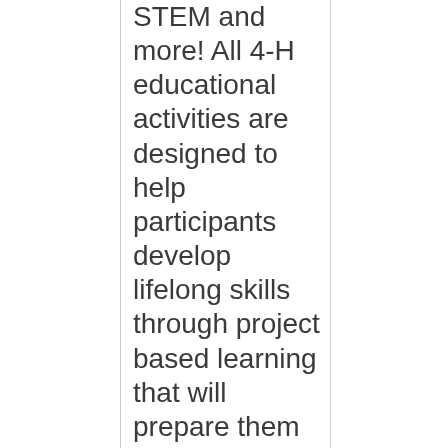STEM and more! All 4-H educational activities are designed to help participants develop lifelong skills through project based learning that will prepare them for future success. To learn more about local opportunities, contact the OSU Extension office in your county or call the State 4-H Office at 541-737-